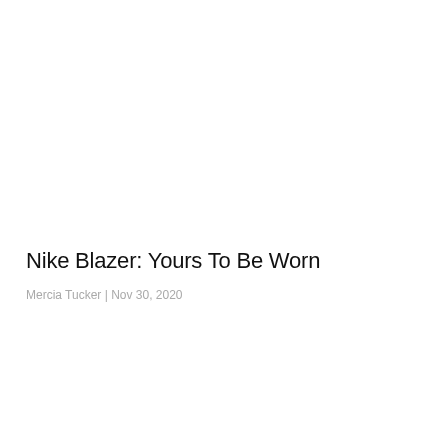Nike Blazer: Yours To Be Worn
Mercia Tucker | Nov 30, 2020